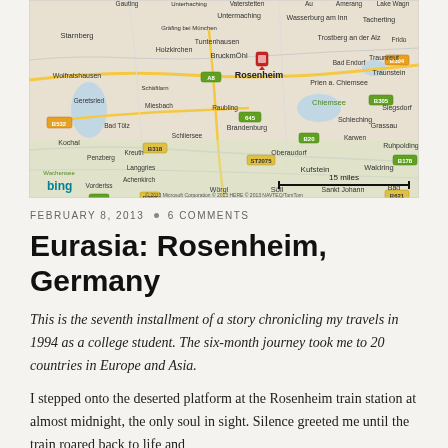[Figure (map): Bing map showing Rosenheim, Germany and surrounding area including Munich suburbs, Chiemsee lake, and the Austrian border region. A red location marker is placed on Rosenheim. Scale bar shows 15 miles.]
FEBRUARY 8, 2013 • 6 COMMENTS
Eurasia: Rosenheim, Germany
This is the seventh installment of a story chronicling my travels in 1994 as a college student. The six-month journey took me to 20 countries in Europe and Asia.
I stepped onto the deserted platform at the Rosenheim train station at almost midnight, the only soul in sight. Silence greeted me until the train roared back to life and